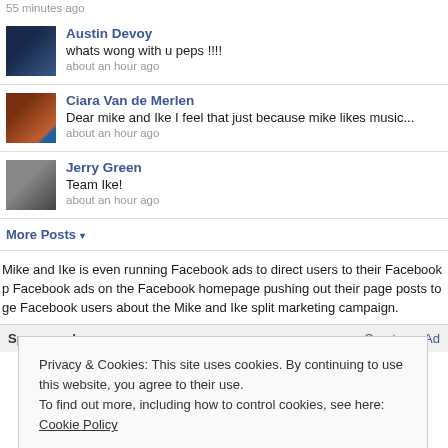55 minutes ago
Austin Devoy
whats wong with u peps !!!!
about an hour ago
Ciara Van de Merlen
Dear mike and Ike I feel that just because mike likes music...
about an hour ago
Jerry Green
Team Ike!
about an hour ago
More Posts ▾
Mike and Ike is even running Facebook ads to direct users to their Facebook p Facebook ads on the Facebook homepage pushing out their page posts to ge Facebook users about the Mike and Ike split marketing campaign.
Sponsored    Create an Ad
Privacy & Cookies: This site uses cookies. By continuing to use this website, you agree to their use.
To find out more, including how to control cookies, see here: Cookie Policy
Close and accept